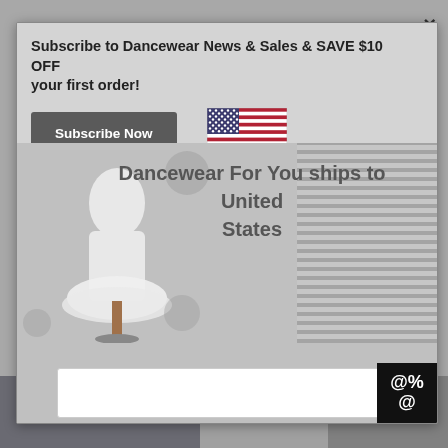Subscribe to Dancewear News & Sales & SAVE $10 OFF your first order!
[Figure (illustration): Subscribe Now button (dark grey rounded rectangle with white bold text)]
[Figure (illustration): US flag icon]
Dancewear For You ships to United States
[Figure (photo): White dance costume/tutu on a mannequin stand with floral background]
[Figure (screenshot): White empty email input field]
[Figure (logo): Black square badge with @% @ symbols representing special offer/discount icon]